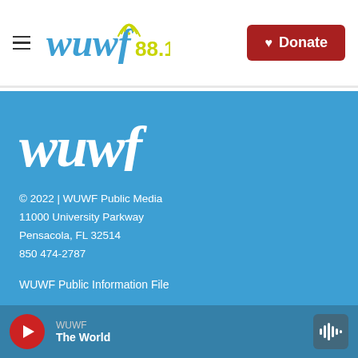[Figure (logo): WUWF 88.1 radio station logo with wifi signal arcs above the 'f']
Donate
[Figure (logo): WUWF wordmark in white italic serif font on blue background]
© 2022 | WUWF Public Media
11000 University Parkway
Pensacola, FL 32514
850 474-2787
WUWF Public Information File
Public Information File Assistance
WUWF EEO Report
WUWF | The World